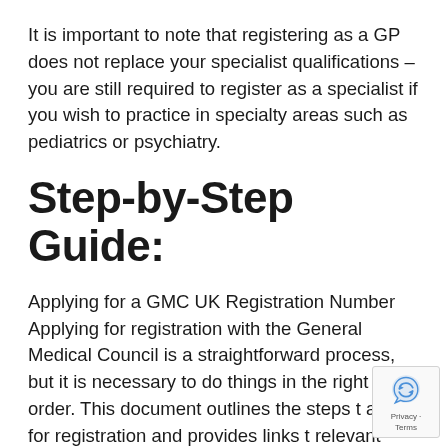It is important to note that registering as a GP does not replace your specialist qualifications – you are still required to register as a specialist if you wish to practice in specialty areas such as pediatrics or psychiatry.
Step-by-Step Guide:
Applying for a GMC UK Registration Number Applying for registration with the General Medical Council is a straightforward process, but it is necessary to do things in the right order. This document outlines the steps to apply for registration and provides links to relevant forms.